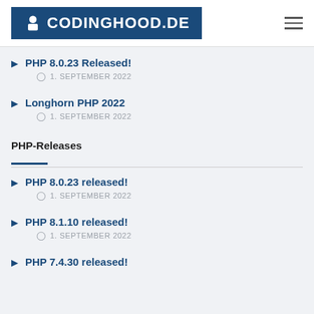CODINGHOOD.DE
PHP 8.0.23 Released! — 1. SEPTEMBER 2022
Longhorn PHP 2022 — 1. SEPTEMBER 2022
PHP-Releases
PHP 8.0.23 released! — 1. SEPTEMBER 2022
PHP 8.1.10 released! — 1. SEPTEMBER 2022
PHP 7.4.30 released!